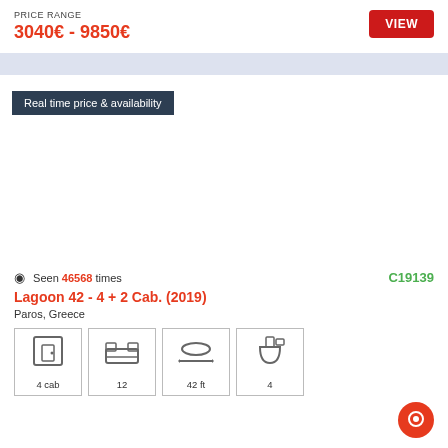PRICE RANGE
3040€ - 9850€
VIEW
Real time price & availability
Seen 46568 times
C19139
Lagoon 42 - 4 + 2 Cab. (2019)
Paros, Greece
[Figure (infographic): Four icons in bordered boxes: cabin icon (4 cab), bed icon (12), length arrow icon (42 ft), toilet icon (4)]